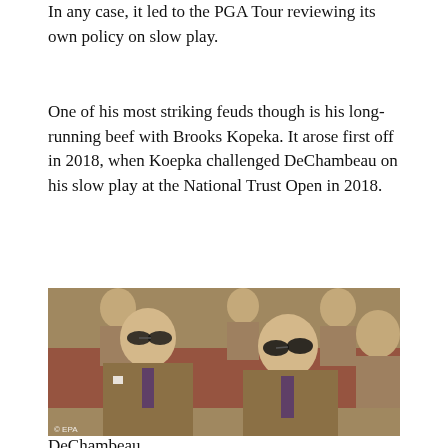In any case, it led to the PGA Tour reviewing its own policy on slow play.
One of his most striking feuds though is his long-running beef with Brooks Kopeka. It arose first off in 2018, when Koepka challenged DeChambeau on his slow play at the National Trust Open in 2018.
[Figure (photo): Photo of golfers in brown tweed jackets and sunglasses seated together, with a cookie consent overlay banner at the bottom reading: We and our partners use cookies on this site to improve our service, perform analytics, personalize advertising, measure advertising performance, and remember website preferences. Ok]
DeChambeau...